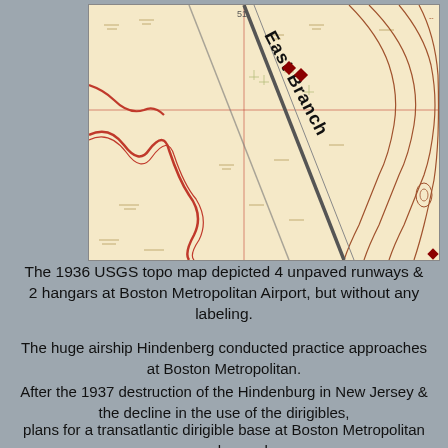[Figure (map): 1936 USGS topographic map excerpt showing East Branch waterway, unpaved runways, and terrain contours at Boston Metropolitan Airport area. Features brown contour lines, a river/creek winding through the map, diagonal lines indicating runways, small red/brown square markers, and the text 'East Branch' written diagonally across the map.]
The 1936 USGS topo map depicted 4 unpaved runways & 2 hangars at Boston Metropolitan Airport, but without any labeling.
The huge airship Hindenberg conducted practice approaches at Boston Metropolitan.
After the 1937 destruction of the Hindenburg in New Jersey & the decline in the use of the dirigibles,
plans for a transatlantic dirigible base at Boston Metropolitan were dropped.